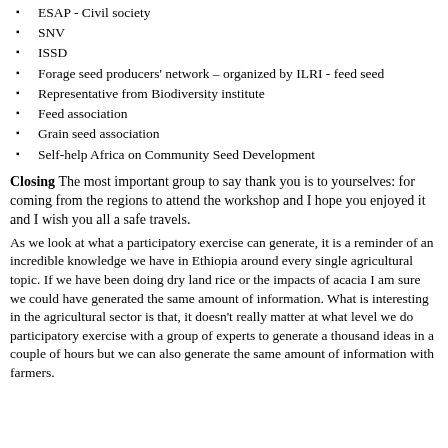ESAP - Civil society
SNV
ISSD
Forage seed producers' network – organized by ILRI - feed seed
Representative from Biodiversity institute
Feed association
Grain seed association
Self-help Africa on Community Seed Development
Closing
The most important group to say thank you is to yourselves: for coming from the regions to attend the workshop and I hope you enjoyed it and I wish you all a safe travels.
As we look at what a participatory exercise can generate, it is a reminder of an incredible knowledge we have in Ethiopia around every single agricultural topic. If we have been doing dry land rice or the impacts of acacia I am sure we could have generated the same amount of information. What is interesting in the agricultural sector is that, it doesn't really matter at what level we do participatory exercise with a group of experts to generate a thousand ideas in a couple of hours but we can also generate the same amount of information with farmers.